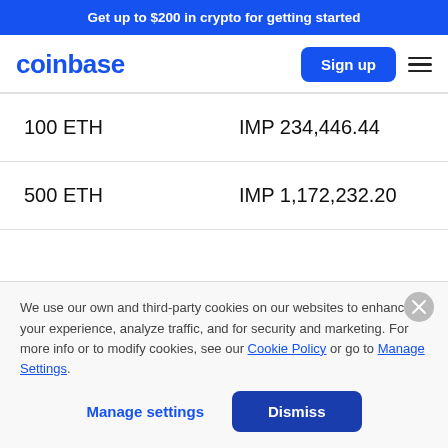Get up to $200 in crypto for getting started
[Figure (logo): Coinbase logo in blue text]
| Amount | Value |
| --- | --- |
| 100 ETH | IMP 234,446.44 |
| 500 ETH | IMP 1,172,232.20 |
We use our own and third-party cookies on our websites to enhance your experience, analyze traffic, and for security and marketing. For more info or to modify cookies, see our Cookie Policy or go to Manage Settings.
Manage settings
Dismiss